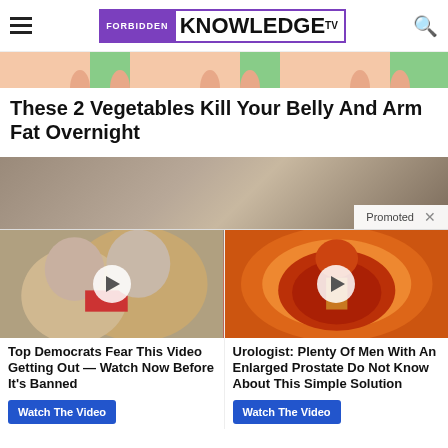Forbidden Knowledge TV
[Figure (illustration): Cropped illustration of cartoon body figures showing belly and arm area against pink and green background]
These 2 Vegetables Kill Your Belly And Arm Fat Overnight
[Figure (photo): Promoted advertisement strip showing a person's face/hair in dark tones with a Promoted badge and close button]
[Figure (photo): Ad thumbnail showing a man and woman (appears to be political figures) with a play button overlay]
Top Democrats Fear This Video Getting Out — Watch Now Before It's Banned
Watch The Video
[Figure (illustration): Ad thumbnail showing a medical illustration of an enlarged prostate with a play button overlay]
Urologist: Plenty Of Men With An Enlarged Prostate Do Not Know About This Simple Solution
Watch The Video